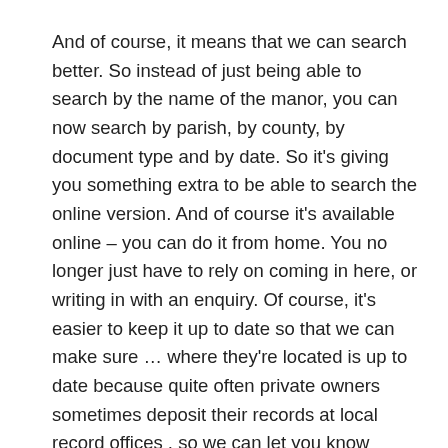And of course, it means that we can search better. So instead of just being able to search by the name of the manor, you can now search by parish, by county, by document type and by date. So it’s giving you something extra to be able to search the online version. And of course it’s available online – you can do it from home. You no longer just have to rely on coming in here, or writing in with an enquiry. Of course, it’s easier to keep it up to date so that we can make sure … where they’re located is up to date because quite often private owners sometimes deposit their records at local record offices , so we can let you know where it all is and keep you up to date with that.
Now, I’m going to demonstrate the online version.